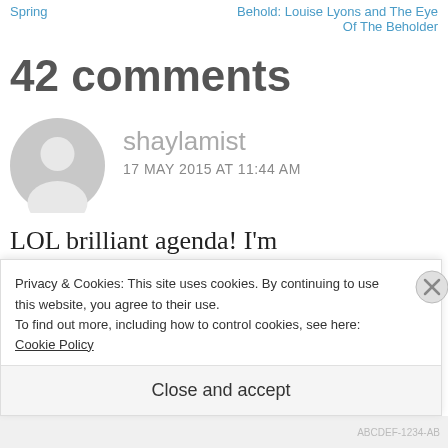Spring | Behold: Louise Lyons and The Eye Of The Beholder
42 comments
shaylamist
17 MAY 2015 AT 11:44 AM
LOL brilliant agenda! I'm definitely supporting it!
Privacy & Cookies: This site uses cookies. By continuing to use this website, you agree to their use.
To find out more, including how to control cookies, see here: Cookie Policy
Close and accept